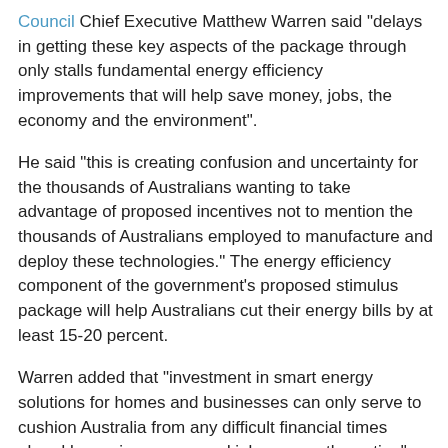Council Chief Executive Matthew Warren said "delays in getting these key aspects of the package through only stalls fundamental energy efficiency improvements that will help save money, jobs, the economy and the environment".
He said "this is creating confusion and uncertainty for the thousands of Australians wanting to take advantage of proposed incentives not to mention the thousands of Australians employed to manufacture and deploy these technologies." The energy efficiency component of the government's proposed stimulus package will help Australians cut their energy bills by at least 15-20 percent.
Warren added that "investment in smart energy solutions for homes and businesses can only serve to cushion Australia from any difficult financial times ahead by saving money and jobs across the nation". "It's common sense really - energy efficiency measures are all about being smarter with what we have and reducing demand overall. This will have the added benefit of keeping investment here and protecting local jobs" explained Warren.